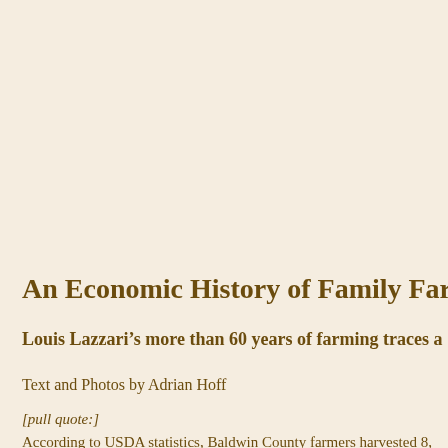An Economic History of Family Farming
Louis Lazzari’s more than 60 years of farming traces a
Text and Photos by Adrian Hoff
[pull quote:]
According to USDA statistics, Baldwin County farmers harvested 8, bushels.